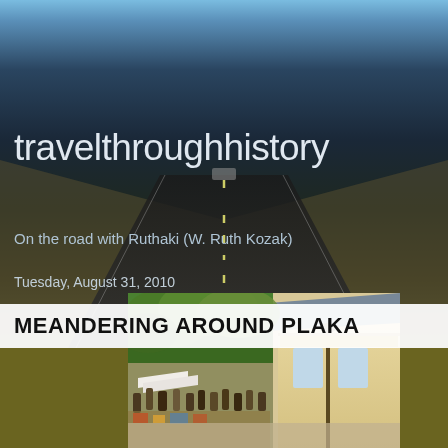travelthroughhistory
On the road with Ruthaki (W. Ruth Kozak)
Tuesday, August 31, 2010
MEANDERING AROUND PLAKA
[Figure (photo): Street scene in Plaka, Athens showing a busy pedestrian street with trees, market stalls, white umbrellas, crowds of tourists, and shop fronts with a lamp post visible.]